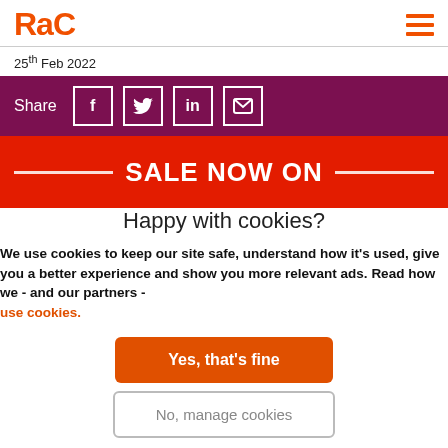RAC
25th Feb 2022
[Figure (infographic): Purple share bar with Share label and social media icons: Facebook, Twitter, LinkedIn, Email]
[Figure (infographic): Red sale banner reading SALE NOW ON with decorative horizontal lines on each side]
Happy with cookies?
We use cookies to keep our site safe, understand how it's used, give you a better experience and show you more relevant ads. Read how we - and our partners - use cookies.
Yes, that's fine
No, manage cookies